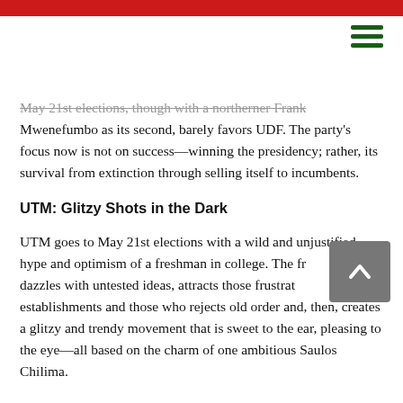May 21st elections, though with a northerner Frank Mwenefumbo as its second, barely favors UDF. The party's focus now is not on success—winning the presidency; rather, its survival from extinction through selling itself to incumbents.
UTM: Glitzy Shots in the Dark
UTM goes to May 21st elections with a wild and unjustified hype and optimism of a freshman in college. The freshman dazzles with untested ideas, attracts those frustrated by establishments and those who rejects old order and, then, creates a glitzy and trendy movement that is sweet to the ear, pleasing to the eye—all based on the charm of one ambitious Saulos Chilima.
Unlike him, Joyce Banda had a long history as a politician